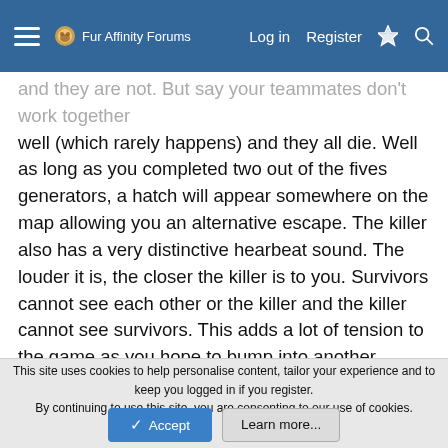Fur Affinity Forums — Log in  Register
and they all die. Well as long as you completed two out of the fives generators, a hatch will appear somewhere on the map allowing you an alternative escape. The killer also has a very distinctive hearbeat sound. The louder it is, the closer the killer is to you. Survivors cannot see each other or the killer and the killer cannot see survivors. This adds a lot of tension to the game as you hope to bump into another survivor while the killer hopes to do the same. There is a lot more to the game and while that does sound a bit overwhelming, the game is actually surprisingly simple. The survivors work together to survive giving you a satisfying teamwork feeling while the killer is solo and makes you feel in control. I love Dead by Daylight as its on of my favorite games. One of the biggest things about the game is mind games. The killer and survivors are trying to get
This site uses cookies to help personalise content, tailor your experience and to keep you logged in if you register.
By continuing to use this site, you are consenting to our use of cookies.